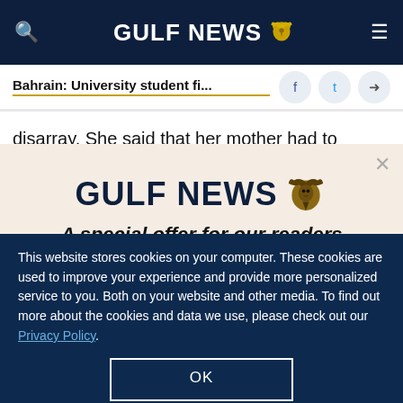GULF NEWS
Bahrain: University student fi...
disarray. She said that her mother had to support
[Figure (logo): Gulf News logo with eagle on beige modal background with headline: A special offer for our readers. Get the two years All-Access subscription now]
This website stores cookies on your computer. These cookies are used to improve your experience and provide more personalized service to you. Both on your website and other media. To find out more about the cookies and data we use, please check out our Privacy Policy.